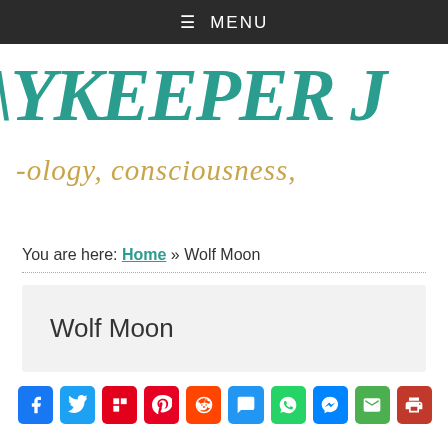☰ MENU
[Figure (logo): Skykeeper Journal logo with teal handwritten text 'YKEEPER J' and gold script '-ology, consciousness,']
You are here: Home » Wolf Moon
Wolf Moon
[Figure (infographic): Social share buttons: Facebook, Twitter, Flipboard, Pinterest, Reddit, Chat, WhatsApp, Messenger, Email, Print]